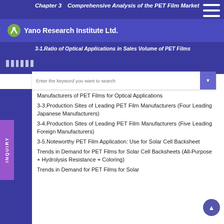Chapter 3　Comprehensive Analysis of the PET Film Market
3-1.Ratio of Optical Applications in Sales Volume of PET Films
Manufacturers of PET Films for Optical Applications
3-3.Production Sites of Leading PET Film Manufacturers (Four Leading Japanese Manufacturers)
3-4.Production Sites of Leading PET Film Manufacturers (Five Leading Foreign Manufacturers)
3-5.Noteworthy PET Film Application: Use for Solar Cell Backsheet
Trends in Demand for PET Films for Solar Cell Backsheets (All-Purpose + Hydrolysis Resistance + Coloring)
Trends in Demand for PET Films for Solar